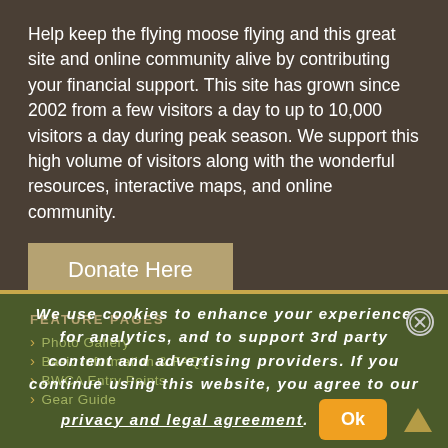Help keep the flying moose flying and this great site and online community alive by contributing your financial support. This site has grown since 2002 from a few visitors a day to up to 10,000 visitors a day during peak season. We support this high volume of visitors along with the wonderful resources, interactive maps, and online community.
Donate Here
We use cookies to enhance your experience for analytics, and to support 3rd party content and advertising providers. If you continue using this website, you agree to our privacy and legal agreement. Ok
FEATURE PAGES
Photo Gallery
Basic Information & FAQs
BWCA Entry Points
Gear Guide